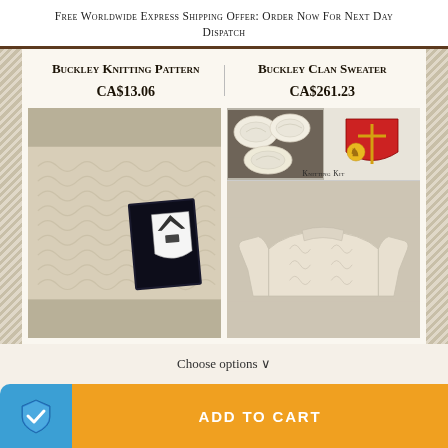Free Worldwide Express Shipping Offer: Order Now For Next Day Dispatch
Buckley Knitting Pattern
CA$13.06
Buckley Clan Sweater
CA$261.23
[Figure (photo): Photo of a cream cable-knit fabric swatch with a Buckley clan crest card on top]
[Figure (photo): Top: skeins of white yarn next to a red Buckley heraldic shield with gold details, labeled 'Knitting Kit'. Bottom: a cream cable-knit Aran sweater.]
Choose options ∨
ADD TO CART